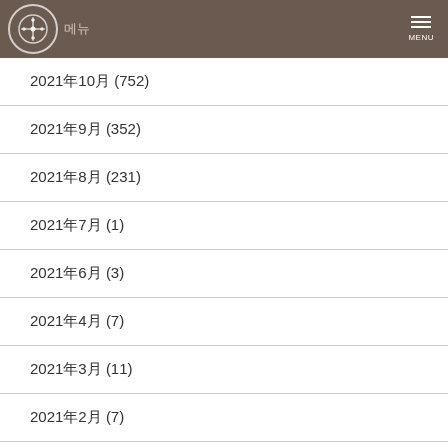메뉴 MENU
2021年10月 (752)
2021年9月 (352)
2021年8月 (231)
2021年7月 (1)
2021年6月 (3)
2021年4月 (7)
2021年3月 (11)
2021年2月 (7)
2021年1月 (8)
2020年12月 (8)